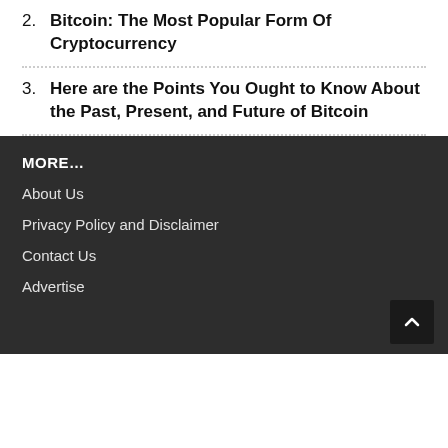2. Bitcoin: The Most Popular Form Of Cryptocurrency
3. Here are the Points You Ought to Know About the Past, Present, and Future of Bitcoin
MORE…
About Us
Privacy Policy and Disclaimer
Contact Us
Advertise